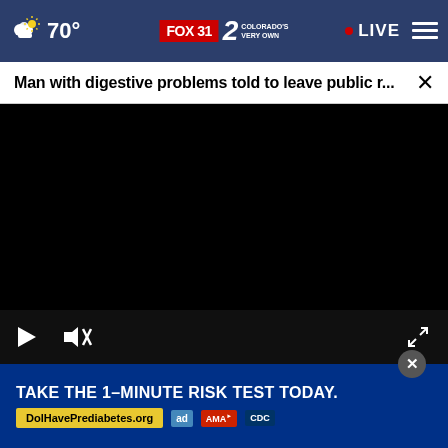[Figure (screenshot): FOX31 / Channel 2 news website navigation bar with weather icon showing 70°, FOX31 Colorado's Very Own logo, LIVE indicator, and hamburger menu]
Man with digestive problems told to leave public r...
[Figure (screenshot): Embedded video player showing black screen with play button and mute icon controls at bottom]
[Figure (photo): Partial photo of a person visible at bottom of page]
TAKE THE 1-MINUTE RISK TEST TODAY. DolHavePrediabetes.org